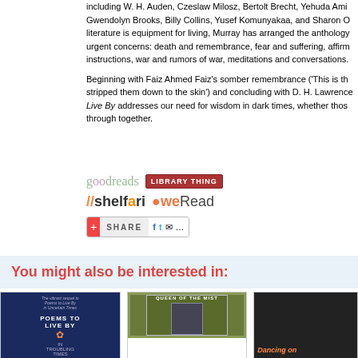including W. H. Auden, Czeslaw Milosz, Bertolt Brecht, Yehuda Amichai, Gwendolyn Brooks, Billy Collins, Yusef Komunyakaa, and Sharon Olds—literature is equipment for living, Murray has arranged the anthology around urgent concerns: death and remembrance, fear and suffering, affirmations and instructions, war and rumors of war, meditations and conversations.
Beginning with Faiz Ahmed Faiz's somber remembrance ('This is the way stripped them down to the skin') and concluding with D. H. Lawrence, Poems to Live By addresses our need for wisdom in dark times, whether those through together.
[Figure (logo): Goodreads logo, LibraryThing logo, Shelfari logo, WeRead logo, and Share bar with social media icons]
You might also be interested in:
[Figure (photo): Book cover: Poems to Live By in Troubling Times (dark blue cover)]
[Figure (photo): Book cover: Queen of the Mist (green/olive cover with black and white photo)]
[Figure (photo): Book cover: Dancing on... (dark cover with orange text)]